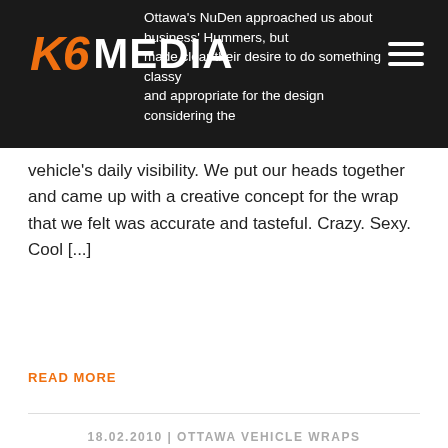K6 MEDIA
Ottawa's NuDen approached us about business' Hummers, but made clear their desire to do something classy and appropriate for the design considering the vehicle's daily visibility. We put our heads together and came up with a creative concept for the wrap that we felt was accurate and tasteful. Crazy. Sexy. Cool [...]
READ MORE
18.02.2010 | OTTAWA VEHICLE WRAPS
OTTAWA TRUCK GRAPHICS &